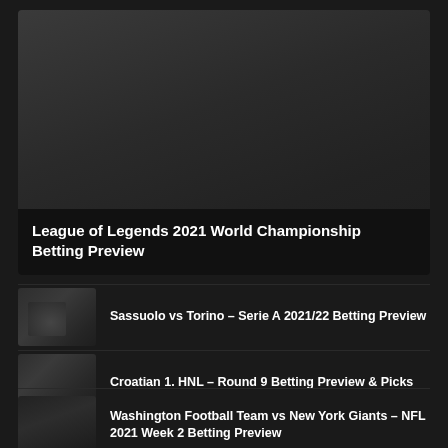[Figure (photo): Dark gradient featured image card with title overlay at bottom]
League of Legends 2021 World Championship Betting Preview
[Figure (photo): Small dark thumbnail image]
Sassuolo vs Torino – Serie A 2021/22 Betting Preview
[Figure (photo): Small dark thumbnail image]
Croatian 1. HNL – Round 9 Betting Preview & Picks
[Figure (photo): Small dark thumbnail image]
Washington Football Team vs New York Giants – NFL 2021 Week 2 Betting Preview